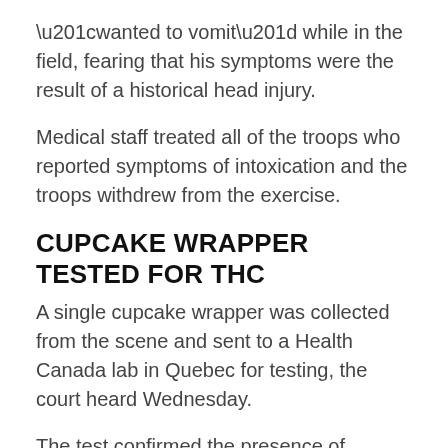“wanted to vomit” while in the field, fearing that his symptoms were the result of a historical head injury.
Medical staff treated all of the troops who reported symptoms of intoxication and the troops withdrew from the exercise.
CUPCAKE WRAPPER TESTED FOR THC
A single cupcake wrapper was collected from the scene and sent to a Health Canada lab in Quebec for testing, the court heard Wednesday.
The test confirmed the presence of tetrahydrocannabinol (THC), the main psychoactive ingredient in marijuana, according